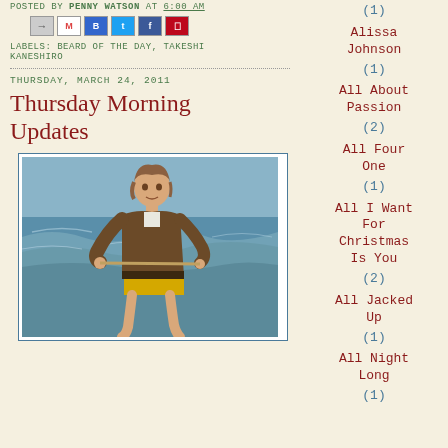POSTED BY PENNY WATSON AT 6:00 AM
LABELS: BEARD OF THE DAY, TAKESHI KANESHIRO
THURSDAY, MARCH 24, 2011
Thursday Morning Updates
[Figure (photo): Person water skiing on ocean waves, wearing a brown jacket and yellow shorts]
(1)
Alissa Johnson (1)
All About Passion (2)
All Four One (1)
All I Want For Christmas Is You (2)
All Jacked Up (1)
All Night Long (1)